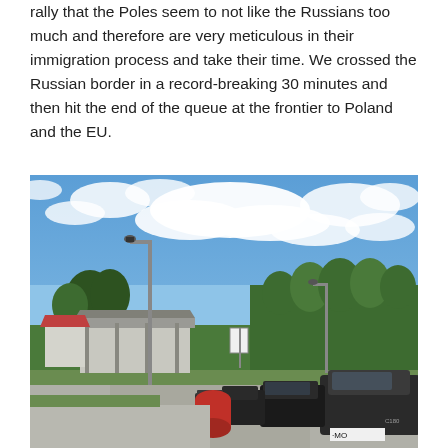rally that the Poles seem to not like the Russians too much and therefore are very meticulous in their immigration process and take their time. We crossed the Russian border in a record-breaking 30 minutes and then hit the end of the queue at the frontier to Poland and the EU.
[Figure (photo): Outdoor photo of a border crossing area with a clear blue sky and white clouds. A street lamp pole stands prominently in the center-left. A covered checkpoint structure is visible in the background left, surrounded by green trees. On the right side, a queue of cars including a dark Mercedes C180 with a Russian number plate starting with MO is parked along the road. A red cylindrical bollard/barrier is visible in the foreground center.]